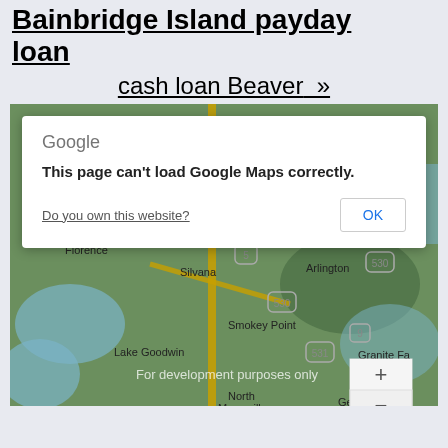Bainbridge Island payday loan
cash loan Beaver »
[Figure (screenshot): Google Maps screenshot showing a region of Washington state with cities including Bryant, Trafton, Florence, Silvana, Arlington, Smokey Point, Lake Goodwin, North Marysville, Getchell, Tulalip, Marysville, Granite Falls. An error dialog overlays the map reading 'This page can't load Google Maps correctly.' with a 'Do you own this website?' link and an OK button. The map shows 'For development purposes only' watermark.]